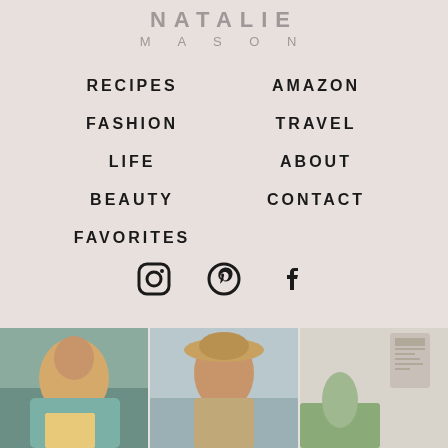NATALIE MASON
RECIPES
AMAZON
FASHION
TRAVEL
LIFE
ABOUT
BEAUTY
CONTACT
FAVORITES
[Figure (illustration): Social media icons: Instagram, Pinterest, Facebook]
[Figure (photo): Three lifestyle photos: woman in teal jacket, woman in hat, boho room decor]